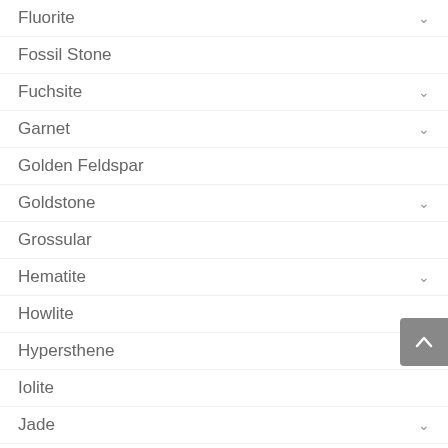Fluorite
Fossil Stone
Fuchsite
Garnet
Golden Feldspar
Goldstone
Grossular
Hematite
Howlite
Hypersthene
Iolite
Jade
Jasper
Jot